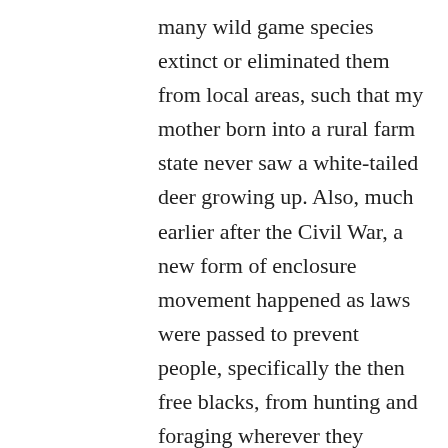many wild game species extinct or eliminated them from local areas, such that my mother born into a rural farm state never saw a white-tailed deer growing up. Also, much earlier after the Civil War, a new form of enclosure movement happened as laws were passed to prevent people, specifically the then free blacks, from hunting and foraging wherever they wanted (early American laws often protected the rights of anyone to hunt, forage plants, collect timber, etc from any land that was left open, whether or not it was owned by someone). The carryover